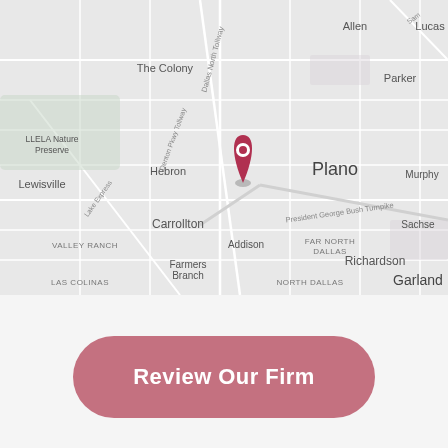[Figure (map): Google Maps view of the North Dallas / Plano area in Texas, showing a red location pin marker near Plano. Visible labels include Allen, Lucas, Parker, Plano, Murphy, Sachse, Garland, Richardson, FAR NORTH DALLAS, NORTH DALLAS, VALLEY RANCH, LAS COLINAS, Addison, Carrollton, Farmers Branch, Hebron, The Colony, Lewisville, LLELA Nature Preserve, and highway labels including Dallas North Tollway and President George Bush Turnpike.]
Review Our Firm